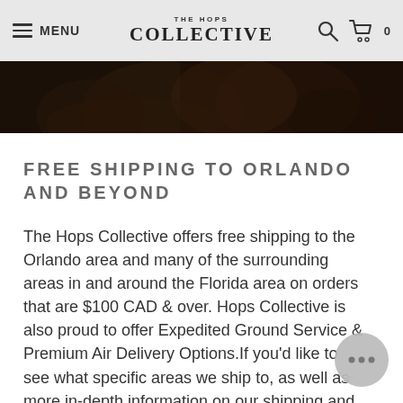MENU | THE HOPS COLLECTIVE
[Figure (photo): Dark background photo of hands, partial view, bottom portion of a hero image]
FREE SHIPPING TO ORLANDO AND BEYOND
The Hops Collective offers free shipping to the Orlando area and many of the surrounding areas in and around the Florida area on orders that are $100 CAD & over. Hops Collective is also proud to offer Expedited Ground Service & Premium Air Delivery Options.If you'd like to see what specific areas we ship to, as well as more in-depth information on our shipping and delivery process, check out our shipping & Delivery page HERE